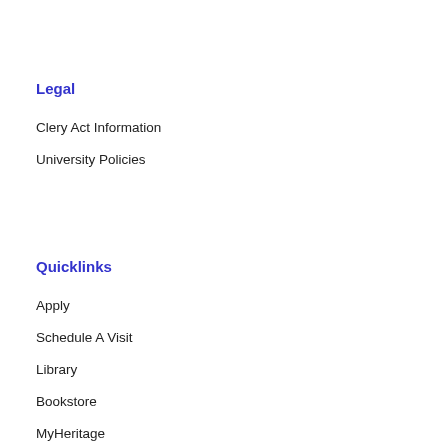Legal
Clery Act Information
University Policies
Quicklinks
Apply
Schedule A Visit
Library
Bookstore
MyHeritage
News
Financial Aid